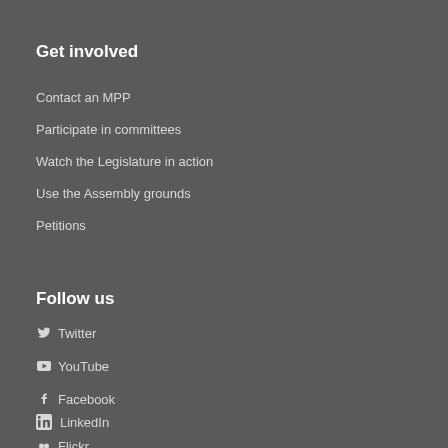Get involved
Contact an MPP
Participate in committees
Watch the Legislature in action
Use the Assembly grounds
Petitions
Follow us
Twitter
YouTube
Facebook
LinkedIn
Flickr